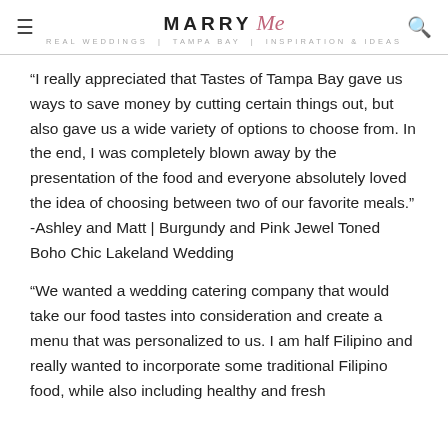MARRY Me TAMPA BAY
“I really appreciated that Tastes of Tampa Bay gave us ways to save money by cutting certain things out, but also gave us a wide variety of options to choose from. In the end, I was completely blown away by the presentation of the food and everyone absolutely loved the idea of choosing between two of our favorite meals.” -Ashley and Matt | Burgundy and Pink Jewel Toned Boho Chic Lakeland Wedding
“We wanted a wedding catering company that would take our food tastes into consideration and create a menu that was personalized to us. I am half Filipino and really wanted to incorporate some traditional Filipino food, while also including healthy and fresh